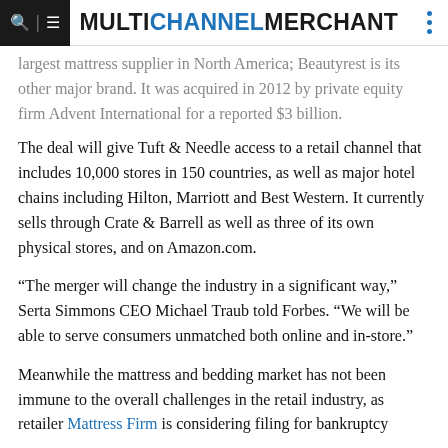MULTICHANNEL MERCHANT
largest mattress supplier in North America; Beautyrest is its other major brand. It was acquired in 2012 by private equity firm Advent International for a reported $3 billion.
The deal will give Tuft & Needle access to a retail channel that includes 10,000 stores in 150 countries, as well as major hotel chains including Hilton, Marriott and Best Western. It currently sells through Crate & Barrell as well as three of its own physical stores, and on Amazon.com.
“The merger will change the industry in a significant way,” Serta Simmons CEO Michael Traub told Forbes. “We will be able to serve consumers unmatched both online and in-store.”
Meanwhile the mattress and bedding market has not been immune to the overall challenges in the retail industry, as retailer Mattress Firm is considering filing for bankruptcy